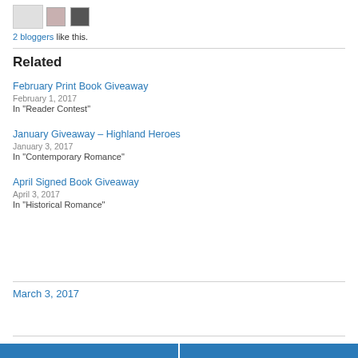[Figure (other): Avatar/profile images of two bloggers]
2 bloggers like this.
Related
February Print Book Giveaway
February 1, 2017
In "Reader Contest"
January Giveaway – Highland Heroes
January 3, 2017
In "Contemporary Romance"
April Signed Book Giveaway
April 3, 2017
In "Historical Romance"
March 3, 2017